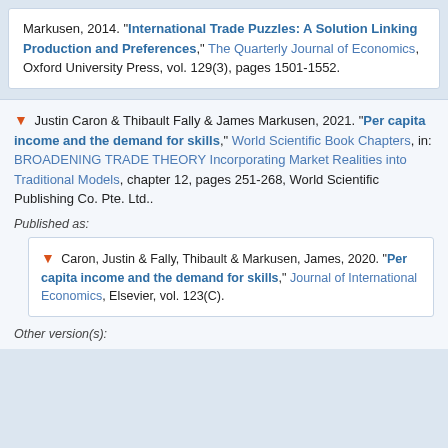Markusen, 2014. "International Trade Puzzles: A Solution Linking Production and Preferences," The Quarterly Journal of Economics, Oxford University Press, vol. 129(3), pages 1501-1552.
Justin Caron & Thibault Fally & James Markusen, 2021. "Per capita income and the demand for skills," World Scientific Book Chapters, in: BROADENING TRADE THEORY Incorporating Market Realities into Traditional Models, chapter 12, pages 251-268, World Scientific Publishing Co. Pte. Ltd..
Published as:
Caron, Justin & Fally, Thibault & Markusen, James, 2020. "Per capita income and the demand for skills," Journal of International Economics, Elsevier, vol. 123(C).
Other version(s):